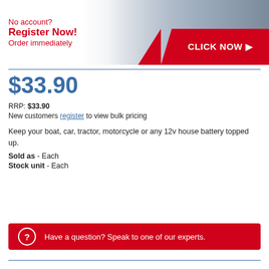[Figure (infographic): Promotional banner: 'No account? Register Now! Order immediately' with red text on left, hand pointing at screen on right, red 'CLICK NOW ▶' button on far right.]
$33.90
RRP: $33.90
New customers register to view bulk pricing
Keep your boat, car, tractor, motorcycle or any 12v house battery topped up.
Sold as - Each
Stock unit - Each
Have a question? Speak to one of our experts.